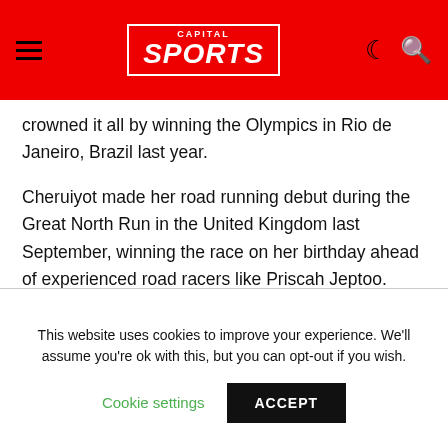CAPITAL SPORTS
crowned it all by winning the Olympics in Rio de Janeiro, Brazil last year.
Cheruiyot made her road running debut during the Great North Run in the United Kingdom last September, winning the race on her birthday ahead of experienced road racers like Priscah Jeptoo.
Speaking to Capital Sport, the mother of one son hopes her success in her half marathon debut will carry some degree of luck when she debuts in London.
This website uses cookies to improve your experience. We'll assume you're ok with this, but you can opt-out if you wish. Cookie settings ACCEPT